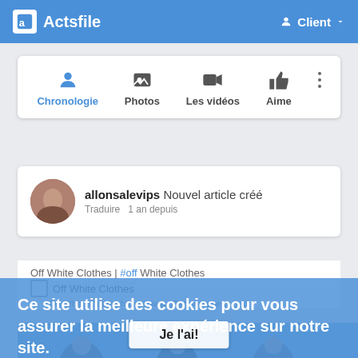Actsfile  Client
[Figure (screenshot): Navigation tabs: Chronologie (active, blue), Photos, Les vidéos, Aime, and a three-dot more menu]
allonsalevips Nouvel article créé
Traduire  1 an depuis
Off White Clothes | #off White Clothes
Off White Clothes
Off White Clothes https://www.offwhiteclothes.com/
Ce site utilise des cookies pour vous assurer la meilleure expérience sur notre site.
Apprendre encore plus
Je l'ai!